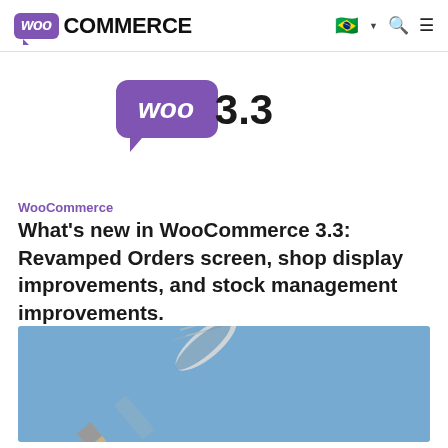WooCommerce — Navigation bar with logo, Brazil flag, search, and menu icons
[Figure (logo): WooCommerce Woo 3.3 hero badge — purple Woo speech bubble logo followed by bold text '3.3']
WooCommerce
What’s new in WooCommerce 3.3: Revamped Orders screen, shop display improvements, and stock management improvements.
[Figure (photo): A paint brush with blue paint on a blue background, photographed from above at an angle.]